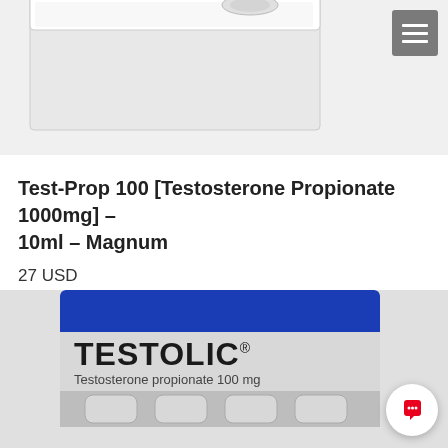[Figure (photo): Partial product box image cropped at the top of the page, showing white pharmaceutical packaging on gray background]
Test-Prop 100 [Testosterone Propionate 1000mg] – 10ml – Magnum
27 USD
[Figure (photo): Testolic Testosterone propionate 100 mg product box with blue top panel and gray label showing product name and vials]